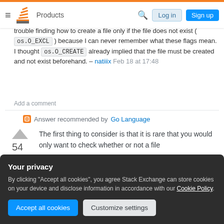≡  [Stack Overflow logo]  Products  🔍  Log in  Sign up
trouble finding how to create a file only if the file does not exist ( os.O_EXCL ) because I can never remember what these flags mean. I thought os.O_CREATE already implied that the file must be created and not exist beforehand. – natiiix Feb 18 at 17:48
Add a comment
Answer recommended by Go Language
54
The first thing to consider is that it is rare that you would only want to check whether or not a file
Your privacy
By clicking "Accept all cookies", you agree Stack Exchange can store cookies on your device and disclose information in accordance with our Cookie Policy.
Accept all cookies
Customize settings
function like os.OpenFile(...) is